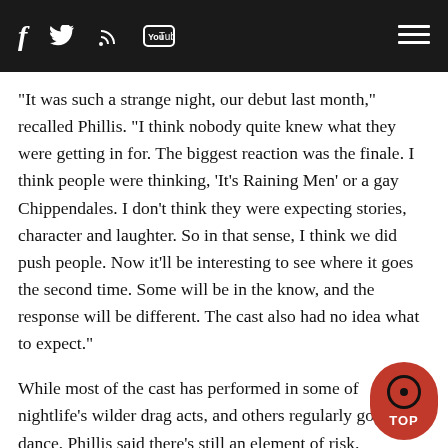f [twitter] [rss] [YouTube] [menu]
"It was such a strange night, our debut last month," recalled Phillis. "I think nobody quite knew what they were getting in for. The biggest reaction was the finale. I think people were thinking, 'It's Raining Men' or a gay Chippendales. I don't think they were expecting stories, character and laughter. So in that sense, I think we did push people. Now it'll be interesting to see where it goes the second time. Some will be in the know, and the response will be different. The cast also had no idea what to expect."
While most of the cast has performed in some of nightlife's wilder drag acts, and others regularly gogo dance, Phillis said there's still an element of risk.
"It's a very vulnerable thing to put yourself out onstage